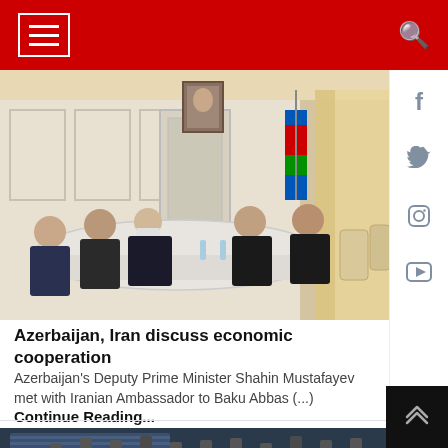Navigation header with hamburger menu and search icon
[Figure (photo): Meeting room scene: officials from Azerbaijan and Iran seated at a long conference table in a formal room with white paneling, Azerbaijani flag, and a portrait on the wall]
Azerbaijan, Iran discuss economic cooperation
Azerbaijan's Deputy Prime Minister Shahin Mustafayev met with Iranian Ambassador to Baku Abbas (...)
Continue Reading...
[Figure (photo): Industrial facility, possibly energy or oil infrastructure, aerial view with large structures and equipment]